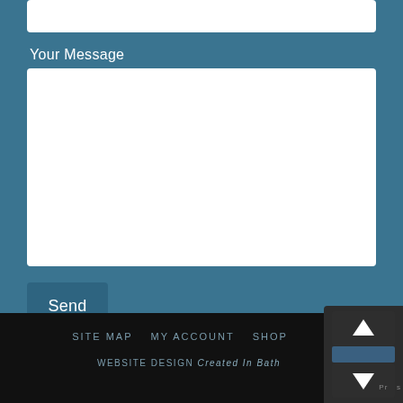[Figure (screenshot): A web contact form section showing a text input field at the top, a 'Your Message' label, a large textarea input, and a Send button. Background is teal/steel blue.]
Your Message
Send
SITE MAP  MY ACCOUNT  SHOP
WEBSITE DESIGN Created In Bath